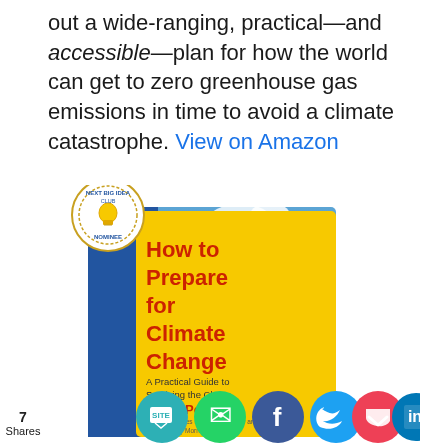out a wide-ranging, practical—and accessible—plan for how the world can get to zero greenhouse gas emissions in time to avoid a climate catastrophe. View on Amazon
[Figure (illustration): Book cover of 'How to Prepare for Climate Change: A Practical Guide to Surviving the Chaos' by David Pogue, with a yellow cover and red title text, displayed with a Next Big Idea Club Nominee badge]
7 Shares